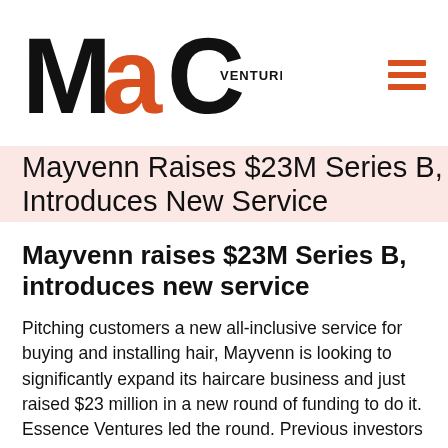[Figure (logo): MaC Venture Capital logo — stylized M, orange 'a', and C letterforms with 'VENTURE CAPITAL' text in small caps]
Mayvenn Raises $23M Series B, Introduces New Service
Mayvenn raises $23M Series B, introduces new service
Pitching customers a new all-inclusive service for buying and installing hair, Mayvenn is looking to significantly expand its haircare business and just raised $23 million in a new round of funding to do it. Essence Ventures led the round. Previous investors include Andreessen Horowitz, Cross Culture Ventures,  Trinity Ventures, along with a clutch of